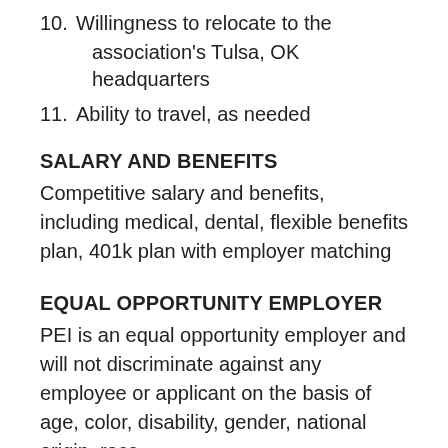10. Willingness to relocate to the association's Tulsa, OK headquarters
11. Ability to travel, as needed
SALARY AND BENEFITS
Competitive salary and benefits, including medical, dental, flexible benefits plan, 401k plan with employer matching
EQUAL OPPORTUNITY EMPLOYER
PEI is an equal opportunity employer and will not discriminate against any employee or applicant on the basis of age, color, disability, gender, national origin, race,